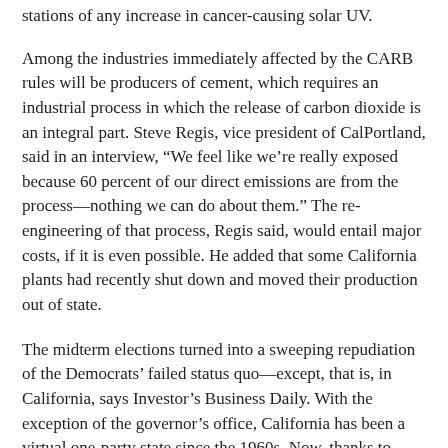stations of any increase in cancer-causing solar UV.
Among the industries immediately affected by the CARB rules will be producers of cement, which requires an industrial process in which the release of carbon dioxide is an integral part. Steve Regis, vice president of CalPortland, said in an interview, “We feel like we’re really exposed because 60 percent of our direct emissions are from the process—nothing we can do about them.” The re-engineering of that process, Regis said, would entail major costs, if it is even possible. He added that some California plants had recently shut down and moved their production out of state.
The midterm elections turned into a sweeping repudiation of the Democrats’ failed status quo—except, that is, in California, says Investor’s Business Daily. With the exception of the governor’s office, California has been a virtual one-party state since the 1960s. Now, thanks to decades of anti-business policies promulgated by a series of left-leaning legislatures, its economy and finances are a mess, and it is hemorrhaging jobs, businesses, and productive entrepreneurs to other states.